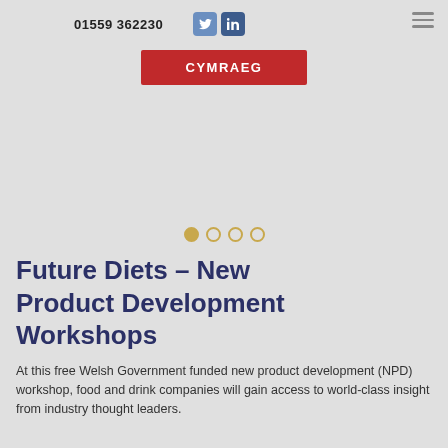01559 362230
CYMRAEG
[Figure (infographic): Slider navigation dots: four circles, the first filled gold, the rest outlined in gold]
Future Diets – New Product Development Workshops
At this free Welsh Government funded new product development (NPD) workshop, food and drink companies will gain access to world-class insight from industry thought leaders.